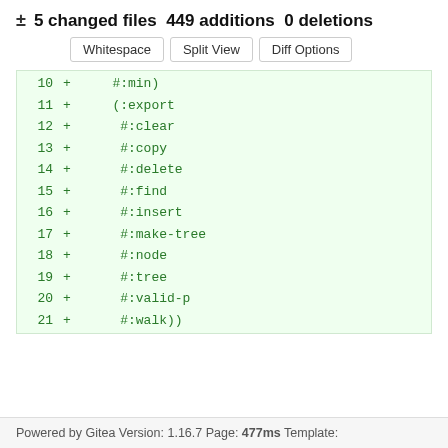± 5 changed files 449 additions 0 deletions
Whitespace  Split View  Diff Options
10 + #:min)
11 + (:export
12 + #:clear
13 + #:copy
14 + #:delete
15 + #:find
16 + #:insert
17 + #:make-tree
18 + #:node
19 + #:tree
20 + #:valid-p
21 + #:walk))
Powered by Gitea Version: 1.16.7 Page: 477ms Template: